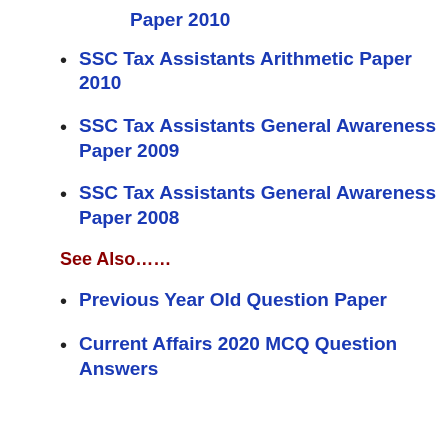Paper 2010
SSC Tax Assistants Arithmetic Paper 2010
SSC Tax Assistants General Awareness Paper 2009
SSC Tax Assistants General Awareness Paper 2008
See Also……
Previous Year Old Question Paper
Current Affairs 2020 MCQ Question Answers